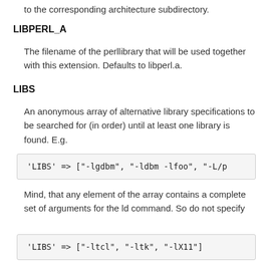to the corresponding architecture subdirectory.
LIBPERL_A
The filename of the perllibrary that will be used together with this extension. Defaults to libperl.a.
LIBS
An anonymous array of alternative library specifications to be searched for (in order) until at least one library is found. E.g.
'LIBS' => ["-lgdbm", "-ldbm -lfoo", "-L/p
Mind, that any element of the array contains a complete set of arguments for the ld command. So do not specify
'LIBS' => ["-ltcl", "-ltk", "-lX11"]